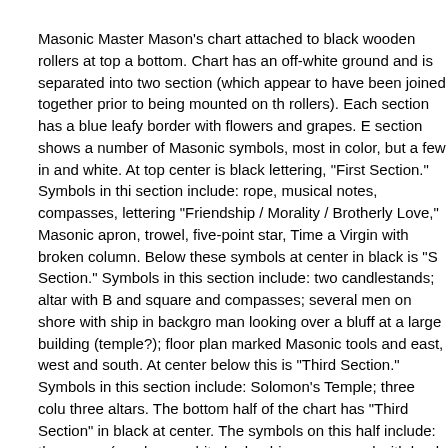Masonic Master Mason's chart attached to black wooden rollers at top and bottom. Chart has an off-white ground and is separated into two sections (which appear to have been joined together prior to being mounted on the rollers). Each section has a blue leafy border with flowers and grapes. Each section shows a number of Masonic symbols, most in color, but a few in black and white. At top center is black lettering, "First Section." Symbols in this section include: rope, musical notes, compasses, lettering "Friendship / Morality / Brotherly Love," Masonic apron, trowel, five-point star, Time and Virgin with broken column. Below these symbols at center in black is "Second Section." Symbols in this section include: two candlestands; altar with Bible and square and compasses; several men on shore with ship in background; man looking over a bluff at a large building (temple?); floor plan marked with Masonic tools and east, west and south. At center below this is "Third Section." Symbols in this section include: Solomon's Temple; three columns; three altars. The bottom half of the chart has "Third Section" in black at center. The symbols on this half include: three men (one has a white beard); beehive; urn; sword with book of Constitutions; ark and rainbow; all-seeing eye with glory rays, stars, sun and moon; sword and heart; hourglass with wings; scythe, shovel and mallet; anchor; Euclid's 47th Problem (black and white check); coffin. Printed in black at bottom center is "Master Mason's Chart." The chart is bound with blue fabric along the sides.